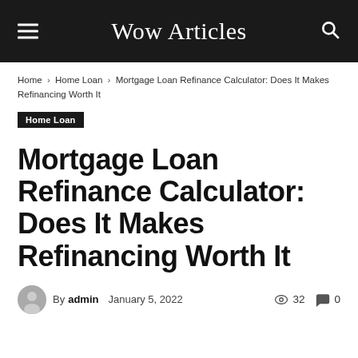Wow Articles
Home › Home Loan › Mortgage Loan Refinance Calculator: Does It Makes Refinancing Worth It
Home Loan
Mortgage Loan Refinance Calculator: Does It Makes Refinancing Worth It
By admin  January 5, 2022  32  0